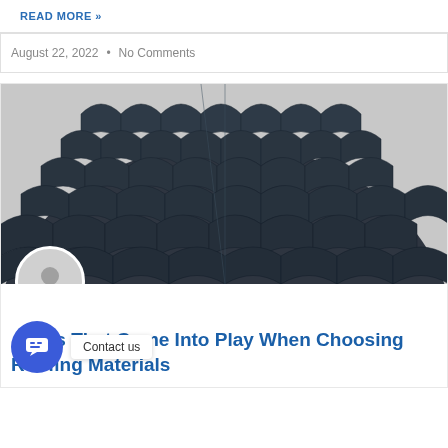READ MORE »
August 22, 2022  •  No Comments
[Figure (photo): Close-up photo of dark grey/charcoal metal roof tiles arranged in overlapping scalloped rows, viewed from below looking up at the ridge.]
…tors That Come Into Play When Choosing Roofing Materials